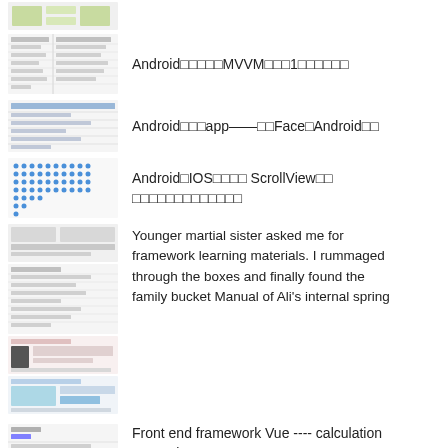[Figure (screenshot): Small thumbnail of a document page with grid/table layout, green icons]
Android□□□□□MVVM□□□1□□□□□□
[Figure (screenshot): Small thumbnail of a document with table rows]
Android□□□app——□□Face□Android□□
[Figure (screenshot): Small thumbnail with blue dot grid pattern]
Android□IOS□□□□ ScrollView□□ □□□□□□□□□□□□□
[Figure (screenshot): Multiple document thumbnails stacked showing framework learning materials]
Younger martial sister asked me for framework learning materials. I rummaged through the boxes and finally found the family bucket Manual of Ali's internal spring
[Figure (screenshot): Small thumbnail of a Vue framework document page]
Front end framework Vue ---- calculation properties
H...